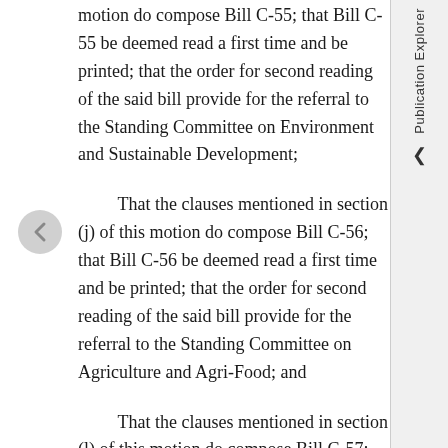motion do compose Bill C-55; that Bill C-55 be deemed read a first time and be printed; that the order for second reading of the said bill provide for the referral to the Standing Committee on Environment and Sustainable Development;
That the clauses mentioned in section (j) of this motion do compose Bill C-56; that Bill C-56 be deemed read a first time and be printed; that the order for second reading of the said bill provide for the referral to the Standing Committee on Agriculture and Agri-Food; and
That the clauses mentioned in section (l) of this motion do compose Bill C-57; that Bill C-57 be deemed read a first time and be printed; that the order for second reading of the said bill provide for the referral to the Standing